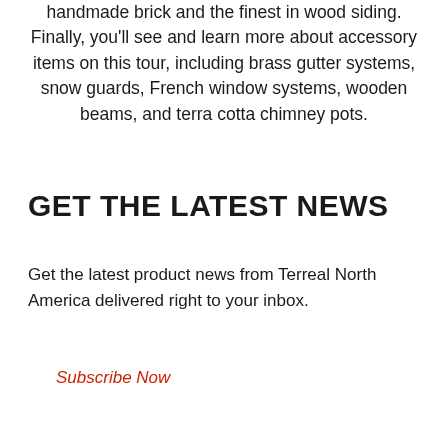handmade brick and the finest in wood siding. Finally, you'll see and learn more about accessory items on this tour, including brass gutter systems, snow guards, French window systems, wooden beams, and terra cotta chimney pots.
GET THE LATEST NEWS
Get the latest product news from Terreal North America delivered right to your inbox.
Subscribe Now